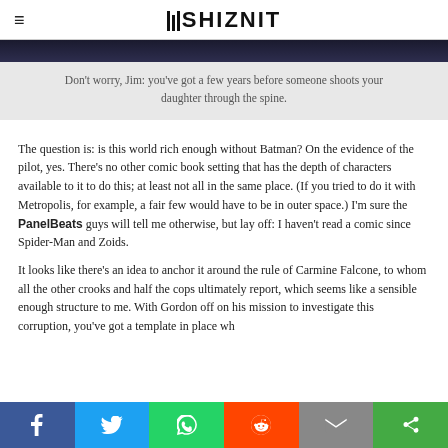THE SHIZNIT
[Figure (photo): Dark image strip at top of article]
Don't worry, Jim: you've got a few years before someone shoots your daughter through the spine.
The question is: is this world rich enough without Batman? On the evidence of the pilot, yes. There's no other comic book setting that has the depth of characters available to it to do this; at least not all in the same place. (If you tried to do it with Metropolis, for example, a fair few would have to be in outer space.) I'm sure the PanelBeats guys will tell me otherwise, but lay off: I haven't read a comic since Spider-Man and Zoids.
It looks like there's an idea to anchor it around the rule of Carmine Falcone, to whom all the other crooks and half the cops ultimately report, which seems like a sensible enough structure to me. With Gordon off on his mission to investigate this corruption, you've got a template in place wh…